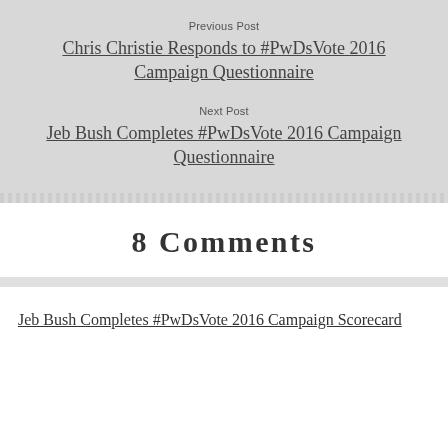Previous Post
Chris Christie Responds to #PwDsVote 2016 Campaign Questionnaire
Next Post
Jeb Bush Completes #PwDsVote 2016 Campaign Questionnaire
8 Comments
Jeb Bush Completes #PwDsVote 2016 Campaign Scorecard